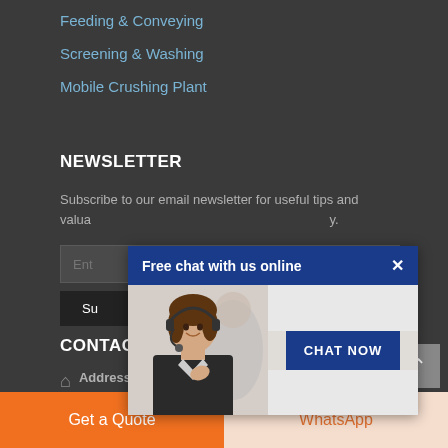Feeding & Conveying
Screening & Washing
Mobile Crushing Plant
NEWSLETTER
Subscribe to our email newsletter for useful tips and valuable resources, sent out every two weeks.
Enter your email
Subscribe
[Figure (screenshot): Chat popup overlay with header 'Free chat with us online', close X button, photo of a customer service representative with headset, and a 'CHAT NOW' button on dark blue background.]
CONTACT INFO
Address: South Jinqiao Area, Pudong, Shanghai,
Get a Quote
WhatsApp